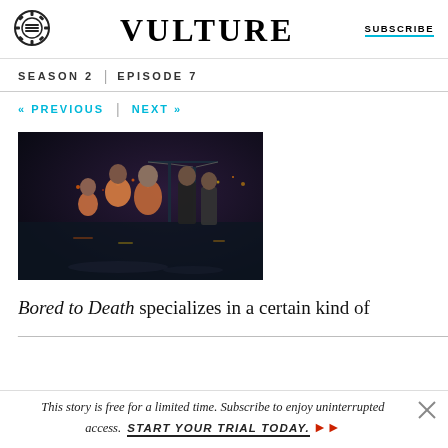VULTURE | SUBSCRIBE
SEASON 2 | EPISODE 7
« PREVIOUS | NEXT »
[Figure (photo): Scene from Bored to Death showing characters in orange robes and suits standing outdoors at night near a bridge]
Bored to Death specializes in a certain kind of
This story is free for a limited time. Subscribe to enjoy uninterrupted access. START YOUR TRIAL TODAY. ➤➤